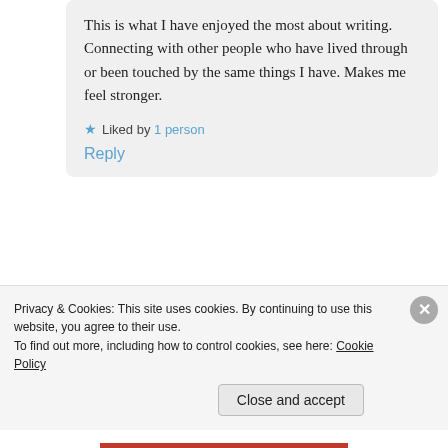This is what I have enjoyed the most about writing. Connecting with other people who have lived through or been touched by the same things I have. Makes me feel stronger.
★ Liked by 1 person
Reply
[Figure (photo): Circular avatar photo of a woman with blonde hair]
Gail
April 8, 2016 at 3:58 pm
Privacy & Cookies: This site uses cookies. By continuing to use this website, you agree to their use.
To find out more, including how to control cookies, see here: Cookie Policy
Close and accept